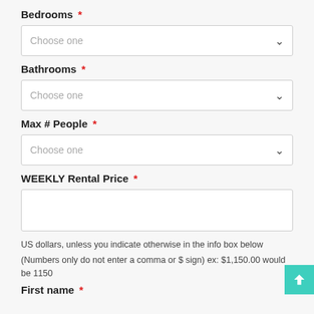Bedrooms *
Choose one
Bathrooms *
Choose one
Max # People *
Choose one
WEEKLY Rental Price *
US dollars, unless you indicate otherwise in the info box below
(Numbers only do not enter a comma or $ sign) ex: $1,150.00 would be 1150
First name *